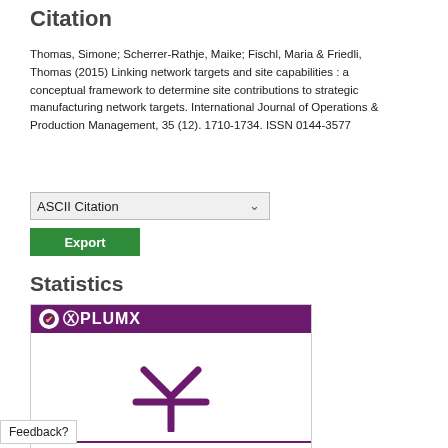Citation
Thomas, Simone; Scherrer-Rathje, Maike; Fischl, Maria & Friedli, Thomas (2015) Linking network targets and site capabilities : a conceptual framework to determine site contributions to strategic manufacturing network targets. International Journal of Operations & Production Management, 35 (12). 1710-1734. ISSN 0144-3577
ASCII Citation [dropdown] Export [button]
Statistics
[Figure (logo): PlumX metrics widget showing a purple header with PlumX logo, a large purple asterisk/snowflake icon in the center, and 'No metrics available.' text with a 'see details' link below.]